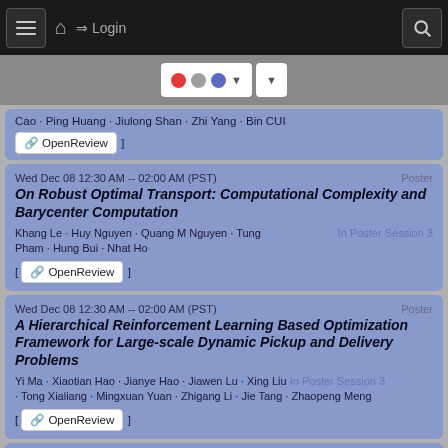☰ 🏠 → Login 🔍
[Figure (screenshot): Navigation logo bar with colored dots and dropdown buttons]
Cao · Ping Huang · Jiulong Shan · Zhi Yang · Bin CUI
[ 🔗 OpenReview ]
Wed Dec 08 12:30 AM -- 02:00 AM (PST)	Poster
On Robust Optimal Transport: Computational Complexity and Barycenter Computation
Khang Le · Huy Nguyen · Quang M Nguyen · Tung	In Poster Session 3
Pham · Hung Bui · Nhat Ho
[ 🔗 OpenReview ]
Wed Dec 08 12:30 AM -- 02:00 AM (PST)	Poster
A Hierarchical Reinforcement Learning Based Optimization Framework for Large-scale Dynamic Pickup and Delivery Problems
Yi Ma · Xiaotian Hao · Jianye Hao · Jiawen Lu · Xing Liu In Poster Session 3
· Tong Xialiang · Mingxuan Yuan · Zhigang Li · Jie Tang · Zhaopeng Meng
[ 🔗 OpenReview ]